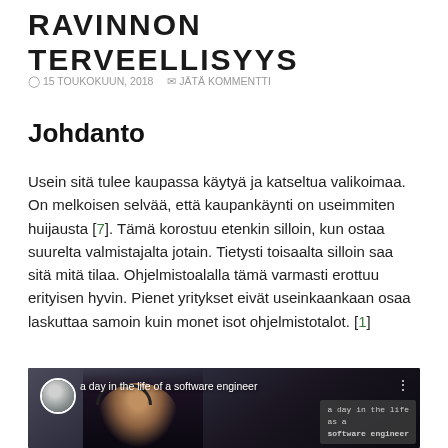RAVINNON TERVEELLISYYS
15 TOUKOKUUN, 2018   JÄTÄ KOMMENTTI
Johdanto
Usein sitä tulee kaupassa käytyä ja katseltua valikoimaa. On melkoisen selvää, että kaupankäynti on useimmiten huijausta [7]. Tämä korostuu etenkin silloin, kun ostaa suurelta valmistajalta jotain. Tietysti toisaalta silloin saa sitä mitä tilaa. Ohjelmistoalalla tämä varmasti erottuu erityisen hyvin. Pienet yritykset eivät useinkaankaan osaa laskuttaa samoin kuin monet isot ohjelmistotalot. [1]
[Figure (screenshot): Video thumbnail showing a person wearing headphones, with text 'a day in the life of a software engineer' and an overlay box showing 'a day in the life as a software engineer' in monospace font]